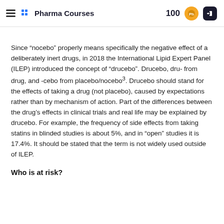Pharma Courses — 100
Since “nocebo” properly means specifically the negative effect of a deliberately inert drugs, in 2018 the International Lipid Expert Panel (ILEP) introduced the concept of “drucebo”. Drucebo, dru- from drug, and -cebo from placebo/nocebo³. Drucebo should stand for the effects of taking a drug (not placebo), caused by expectations rather than by mechanism of action. Part of the differences between the drug's effects in clinical trials and real life may be explained by drucebo. For example, the frequency of side effects from taking statins in blinded studies is about 5%, and in “open” studies it is 17.4%. It should be stated that the term is not widely used outside of ILEP.
Who is at risk?